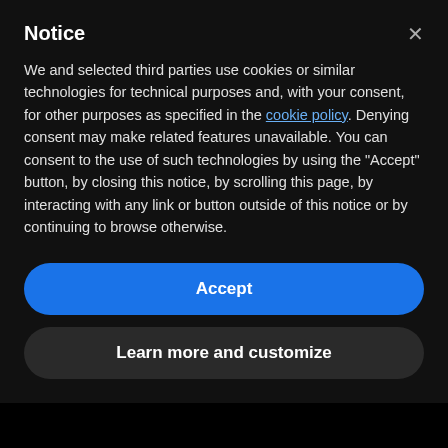Notice
We and selected third parties use cookies or similar technologies for technical purposes and, with your consent, for other purposes as specified in the cookie policy. Denying consent may make related features unavailable. You can consent to the use of such technologies by using the "Accept" button, by closing this notice, by scrolling this page, by interacting with any link or button outside of this notice or by continuing to browse otherwise.
Accept
Learn more and customize
services for international families in the Netherlands.
[Figure (logo): reCAPTCHA badge with logo and Privacy/Terms links]